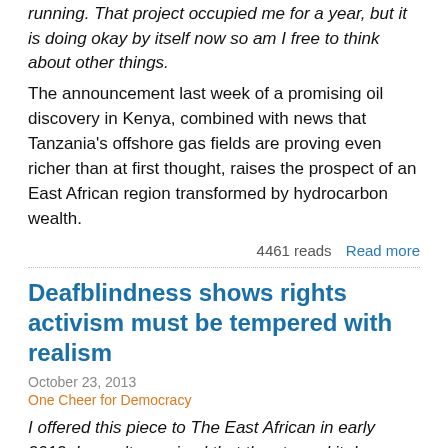running. That project occupied me for a year, but it is doing okay by itself now so am I free to think about other things.
The announcement last week of a promising oil discovery in Kenya, combined with news that Tanzania's offshore gas fields are proving even richer than at first thought, raises the prospect of an East African region transformed by hydrocarbon wealth.
4461 reads   Read more
Deafblindness shows rights activism must be tempered with realism
October 23, 2013
One Cheer for Democracy
I offered this piece to The East African in early 2012. I wasn't surprised that they turned it down. No–one likes to hear that equal rights have a price tag.